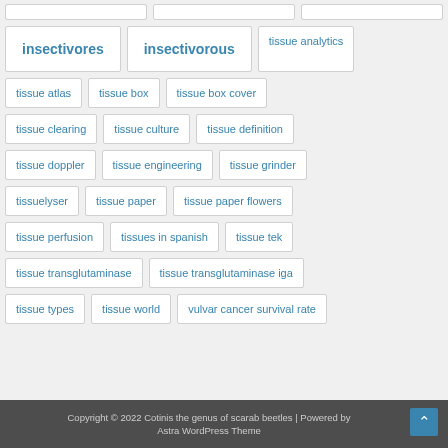insectivores
insectivorous
tissue analytics
tissue atlas
tissue box
tissue box cover
tissue clearing
tissue culture
tissue definition
tissue doppler
tissue engineering
tissue grinder
tissuelyser
tissue paper
tissue paper flowers
tissue perfusion
tissues in spanish
tissue tek
tissue transglutaminase
tissue transglutaminase iga
tissue types
tissue world
vulvar cancer survival rate
Copyright © 2022 Cotinis the genus of scarab beetles | Powered by Astra WordPress Theme